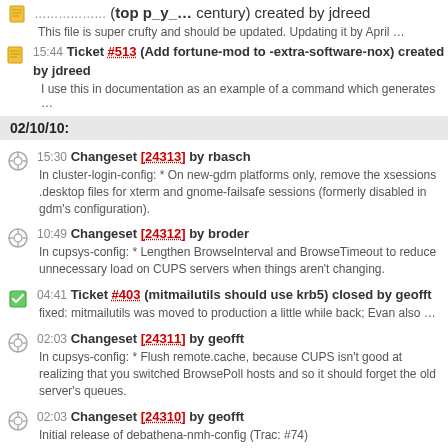15:44 Ticket #513 (Add fortune-mod to -extra-software-nox) created by jdreed — This file is super crufty and should be updated. Updating it by April …
02/10/10:
15:30 Changeset [24313] by rbasch — In cluster-login-config: * On new-gdm platforms only, remove the xsessions .desktop files for xterm and gnome-failsafe sessions (formerly disabled in gdm's configuration).
10:49 Changeset [24312] by broder — In cupsys-config: * Lengthen BrowseInterval and BrowseTimeout to reduce unnecessary load on CUPS servers when things aren't changing.
04:41 Ticket #403 (mitmailutils should use krb5) closed by geofft — fixed: mitmailutils was moved to production a little while back; Evan also …
02:03 Changeset [24311] by geofft — In cupsys-config: * Flush remote.cache, because CUPS isn't good at realizing that you switched BrowsePoll hosts and so it should forget the old server's queues.
02:03 Changeset [24310] by geofft — Initial release of debathena-nmh-config (Trac: #74)